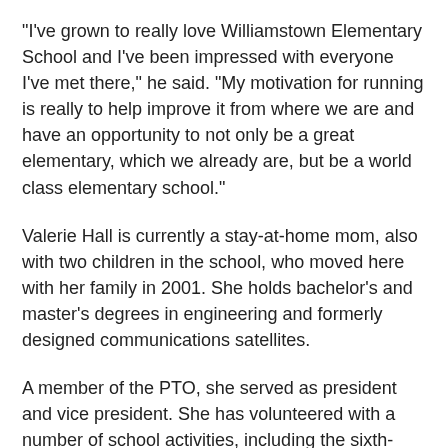"I've grown to really love Williamstown Elementary School and I've been impressed with everyone I've met there," he said. "My motivation for running is really to help improve it from where we are and have an opportunity to not only be a great elementary, which we already are, but be a world class elementary school."
Valerie Hall is currently a stay-at-home mom, also with two children in the school, who moved here with her family in 2001. She holds bachelor's and master's degrees in engineering and formerly designed communications satellites.
A member of the PTO, she served as president and vice president. She has volunteered with a number of school activities, including the sixth-grade yearbook, and regularly volunteers in her children's classrooms.
"I am devoted to keeping our school on the right track while facing these tough budget times. Our enrollment has been declining, our budget is based for declining, finding out our circumstances," she said